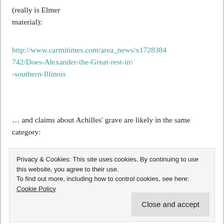(really is Elmer material):
http://www.carmitimes.com/area_news/x1728384742/Does-Alexander-the-Great-rest-in\-southern-Illinois
… and claims about Achilles' grave are likely in the same category:
http://www.todayszaman.com/news-231953-mythological-warrior-achilles-to-have-his\
Privacy & Cookies: This site uses cookies. By continuing to use this website, you agree to their use.
To find out more, including how to control cookies, see here: Cookie Policy
Close and accept